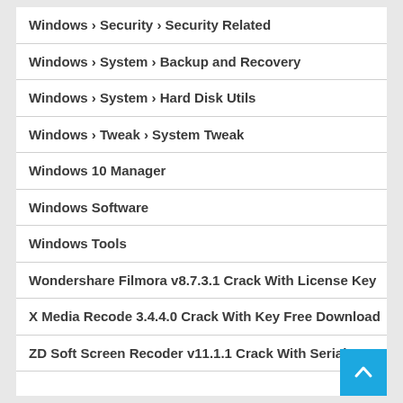Windows › Security › Security Related
Windows › System › Backup and Recovery
Windows › System › Hard Disk Utils
Windows › Tweak › System Tweak
Windows 10 Manager
Windows Software
Windows Tools
Wondershare Filmora v8.7.3.1 Crack With License Key
X Media Recode 3.4.4.0 Crack With Key Free Download
ZD Soft Screen Recoder v11.1.1 Crack With Serial K…